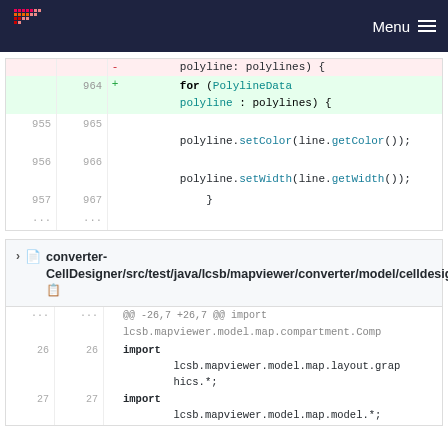Menu
[Figure (screenshot): Code diff showing Java for-each loop change: deleted 'for (Polyline polyline : polylines)' and added 'for (PolylineData polyline : polylines)', followed by context lines with polyline.setColor and polyline.setWidth calls]
converter-CellDesigner/src/test/java/lcsb/mapviewer/converter/model/celldesigner/CellDesignerXmlParserTest.java
[Figure (screenshot): Code diff showing import statements for lcsb.mapviewer.model.map.layout.graphics.* and lcsb.mapviewer.model.map.model.*]